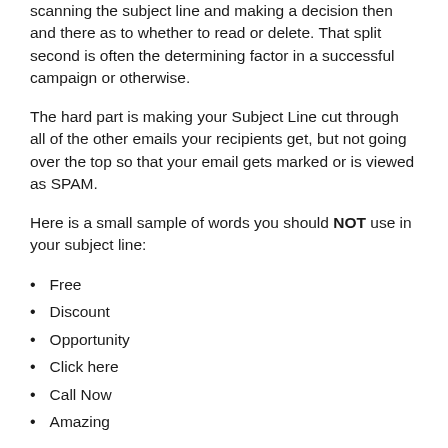scanning the subject line and making a decision then and there as to whether to read or delete. That split second is often the determining factor in a successful campaign or otherwise.
The hard part is making your Subject Line cut through all of the other emails your recipients get, but not going over the top so that your email gets marked or is viewed as SPAM.
Here is a small sample of words you should NOT use in your subject line:
Free
Discount
Opportunity
Click here
Call Now
Amazing